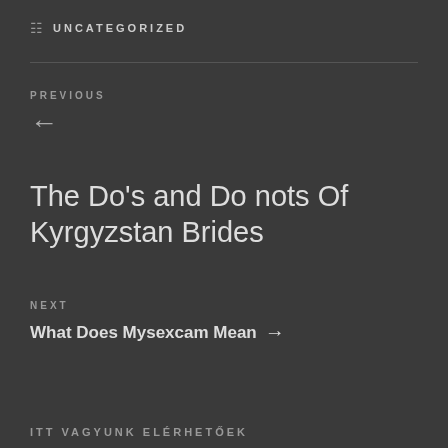UNCATEGORIZED
PREVIOUS
←
The Do's and Do nots Of Kyrgyzstan Brides
NEXT
What Does Mysexcam Mean →
ITT VAGYUNK ELÉRHETŐEK